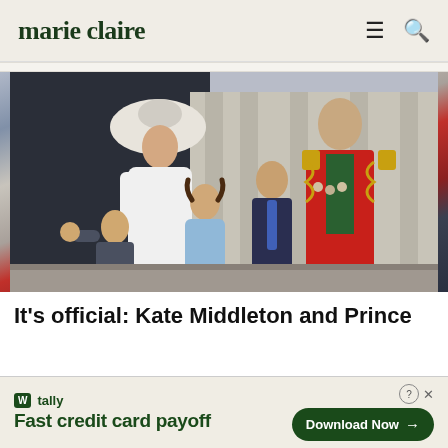marie claire
[Figure (photo): Kate Middleton in white outfit and hat, Prince William in red military uniform, and their three children (Prince Louis, Princess Charlotte, Prince George) on a balcony at Trooping the Colour]
It's official: Kate Middleton and Prince
[Figure (other): Tally advertisement banner: 'Fast credit card payoff' with Download Now button]